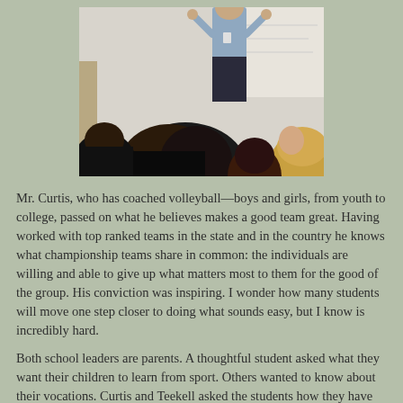[Figure (photo): Classroom scene viewed from behind students. A man in a light blue shirt with an ID badge stands at the front near a whiteboard, gesturing with his hands. Several students' heads and shoulders are visible from behind in the foreground.]
Mr. Curtis, who has coached volleyball—boys and girls, from youth to college, passed on what he believes makes a good team great. Having worked with top ranked teams in the state and in the country he knows what championship teams share in common: the individuals are willing and able to give up what matters most to them for the good of the group. His conviction was inspiring. I wonder how many students will move one step closer to doing what sounds easy, but I know is incredibly hard.
Both school leaders are parents. A thoughtful student asked what they want their children to learn from sport. Others wanted to know about their vocations. Curtis and Teekell asked the students how they have applied the lessons of the class to their experience as athletes. We all agreed that some things need to change in the